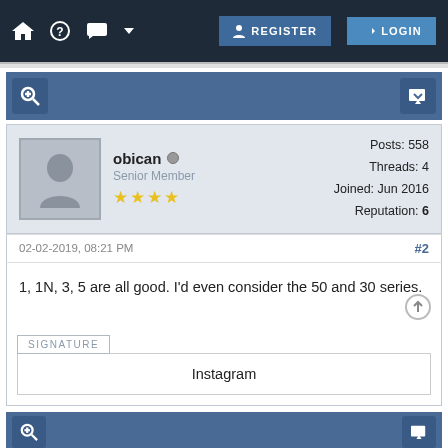REGISTER LOGIN
[Figure (screenshot): Toolbar with magnify and reply icons on blue-gray background]
obican
Senior Member
Posts: 558
Threads: 4
Joined: Jun 2016
Reputation: 6
02-02-2019, 08:21 PM  #2
1, 1N, 3, 5 are all good. I'd even consider the 50 and 30 series.
SIGNATURE
Instagram